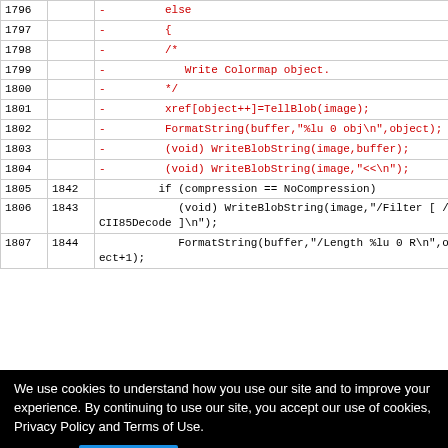| line_old | line_new | code |
| --- | --- | --- |
| 1796 |  | - 	else |
| 1797 |  | - 	{ |
| 1798 |  | - 		/* |
| 1799 |  | - 		   Write Colormap object. |
| 1800 |  | - 		*/ |
| 1801 |  | - 		xref[object++]=TellBlob(image); |
| 1802 |  | - 		FormatString(buffer,"%lu 0 obj\n",object); |
| 1803 |  | - 		(void) WriteBlobString(image,buffer); |
| 1804 |  | - 		(void) WriteBlobString(image,"<<\n"); |
| 1805 | 1842 | 		if (compression == NoCompression) |
| 1806 | 1843 | 			(void) WriteBlobString(image,"/Filter [ / ASCII85Decode ]\n"); |
| 1807 | 1844 | 			FormatString(buffer,"/Length %lu 0 R\n",obj ect+1); |
| 1815 |  | - 	{ |
We use cookies to understand how you use our site and to improve your experience. By continuing to use our site, you accept our use of cookies, Privacy Policy and Terms of Use.